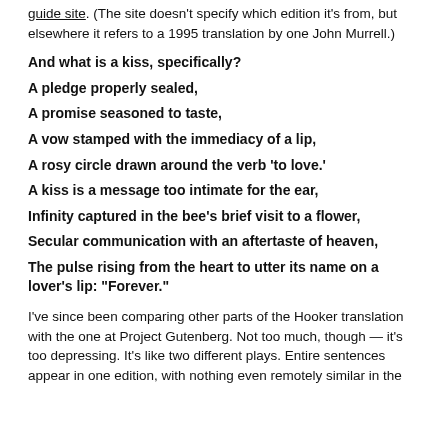guide site. (The site doesn't specify which edition it's from, but elsewhere it refers to a 1995 translation by one John Murrell.)
And what is a kiss, specifically?
A pledge properly sealed,
A promise seasoned to taste,
A vow stamped with the immediacy of a lip,
A rosy circle drawn around the verb 'to love.'
A kiss is a message too intimate for the ear,
Infinity captured in the bee's brief visit to a flower,
Secular communication with an aftertaste of heaven,
The pulse rising from the heart to utter its name on a lover's lip: "Forever."
I've since been comparing other parts of the Hooker translation with the one at Project Gutenberg. Not too much, though — it's too depressing. It's like two different plays. Entire sentences appear in one edition, with nothing even remotely similar in the